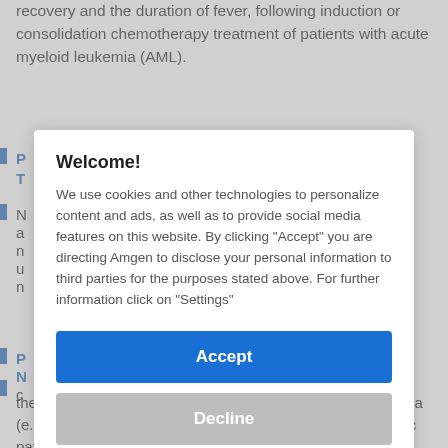recovery and the duration of fever, following induction or consolidation chemotherapy treatment of patients with acute myeloid leukemia (AML).
[Figure (screenshot): Cookie consent modal dialog with Welcome! heading, cookie policy text, Accept button (blue), Decline button (grey), and Settings link (blue underlined).]
the incidence and duration of sequelae of severe neutropenia (e.g., fever, infections, oropharyngeal ulcers) in symptomatic patients with congenital neutropenia, cyclic neutropenia, or idiopathic neutropenia.